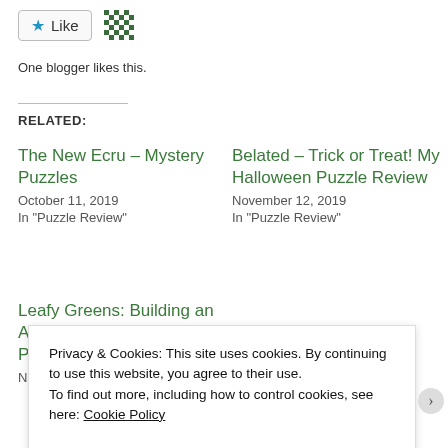[Figure (other): Like button with blue star icon and a green checkerboard avatar icon beside it]
One blogger likes this.
RELATED:
The New Ecru – Mystery Puzzles
October 11, 2019
In "Puzzle Review"
Belated – Trick or Treat! My Halloween Puzzle Review
November 12, 2019
In "Puzzle Review"
Leafy Greens: Building an Appetite for a New Kind of Puzzle
Privacy & Cookies: This site uses cookies. By continuing to use this website, you agree to their use.
To find out more, including how to control cookies, see here: Cookie Policy
Close and accept